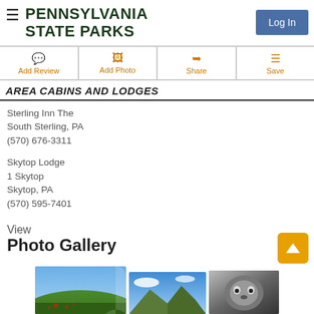PENNSYLVANIA STATE PARKS
AREA CABINS AND LODGES
Sterling Inn The
South Sterling, PA
(570) 676-3311
Skytop Lodge
1 Skytop
Skytop, PA
(570) 595-7401
View
Photo Gallery
[Figure (photo): Partial view of three landscape/nature photo thumbnails at bottom of page]